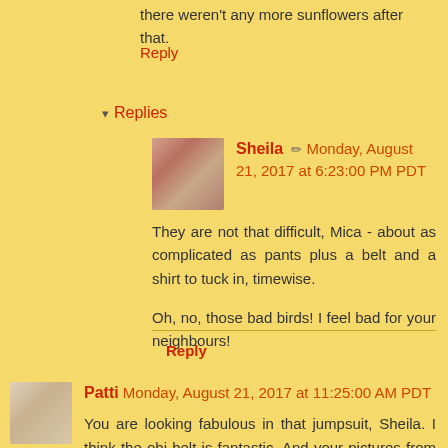there weren't any more sunflowers after that.
Reply
▾ Replies
Sheila ✏ Monday, August 21, 2017 at 6:23:00 PM PDT
They are not that difficult, Mica - about as complicated as pants plus a belt and a shirt to tuck in, timewise.

Oh, no, those bad birds! I feel bad for your neighbours!
Reply
Patti Monday, August 21, 2017 at 11:25:00 AM PDT
You are looking fabulous in that jumpsuit, Sheila. I think the obi belt is fantastic. And your pictures from the sunflower field make me want to be right there, thanks for linking up.